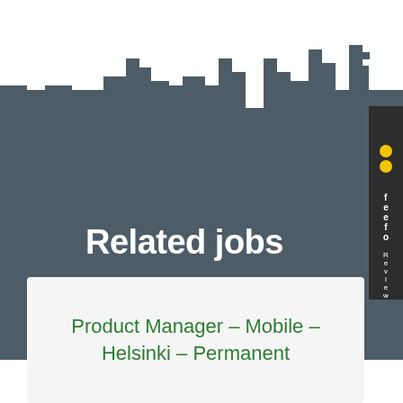[Figure (illustration): Dark grey pixelated city skyline banner background with castle-like battlements pattern at the top]
Related jobs
[Figure (logo): Feefo Reviews vertical side tab badge in dark grey with yellow/gold circle dots and white text]
Product Manager – Mobile – Helsinki – Permanent